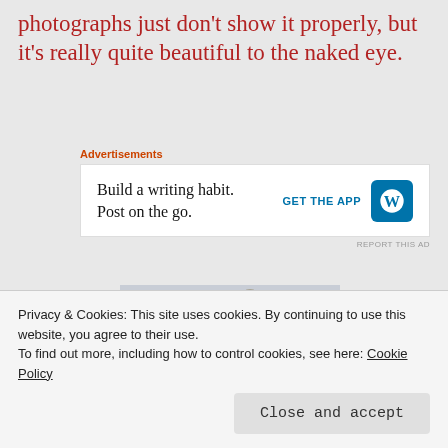photographs just don't show it properly, but it's really quite beautiful to the naked eye.
[Figure (screenshot): WordPress advertisement banner: 'Build a writing habit. Post on the go.' with GET THE APP button and WordPress logo]
[Figure (photo): Close-up photo of a green oval gemstone pendant with gold/brass setting and decorative balls, labeled 'Little Green Oval']
Privacy & Cookies: This site uses cookies. By continuing to use this website, you agree to their use.
To find out more, including how to control cookies, see here: Cookie Policy
Close and accept